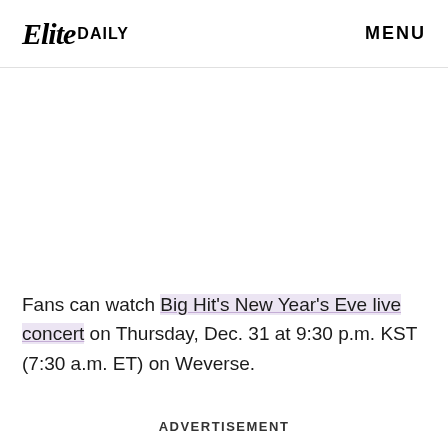Elite DAILY   MENU
Fans can watch Big Hit's New Year's Eve live concert on Thursday, Dec. 31 at 9:30 p.m. KST (7:30 a.m. ET) on Weverse.
ADVERTISEMENT